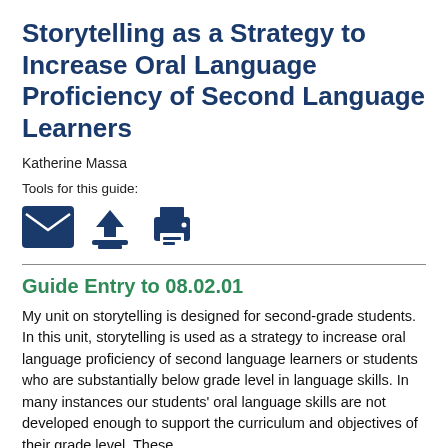Storytelling as a Strategy to Increase Oral Language Proficiency of Second Language Learners
Katherine Massa
Tools for this guide:
[Figure (infographic): Three blue icons: envelope (email), download arrow, and printer]
Guide Entry to 08.02.01
My unit on storytelling is designed for second-grade students. In this unit, storytelling is used as a strategy to increase oral language proficiency of second language learners or students who are substantially below grade level in language skills. In many instances our students' oral language skills are not developed enough to support the curriculum and objectives of their grade level. These